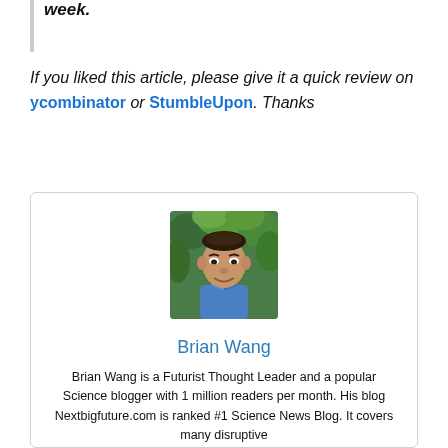week.
If you liked this article, please give it a quick review on ycombinator or StumbleUpon. Thanks
[Figure (photo): Headshot photo of Brian Wang, a man in a blue shirt against a green leafy background]
Brian Wang
Brian Wang is a Futurist Thought Leader and a popular Science blogger with 1 million readers per month. His blog Nextbigfuture.com is ranked #1 Science News Blog. It covers many disruptive